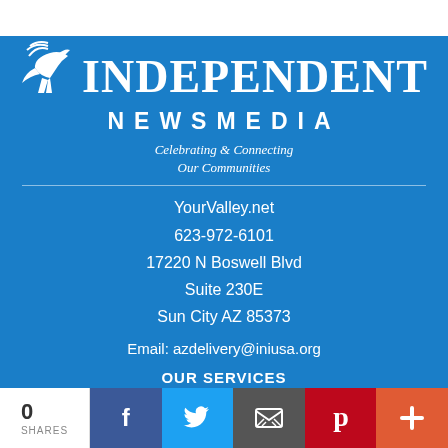[Figure (logo): Independent Newsmedia logo with bird/eagle graphic and text 'INDEPENDENT NEWSMEDIA' on blue background, tagline 'Celebrating & Connecting Our Communities']
YourValley.net
623-972-6101
17220 N Boswell Blvd
Suite 230E
Sun City AZ 85373
Email: azdelivery@iniusa.org
OUR SERVICES
0
SHARES